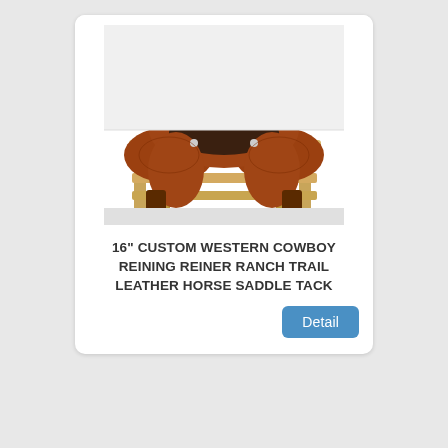[Figure (photo): A brown leather western cowboy reining saddle displayed on a wooden saddle stand against a light background.]
16" CUSTOM WESTERN COWBOY REINING REINER RANCH TRAIL LEATHER HORSE SADDLE TACK